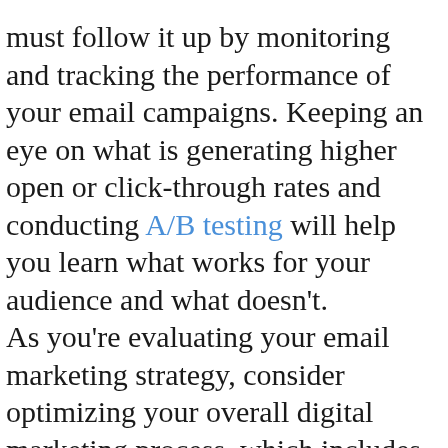must follow it up by monitoring and tracking the performance of your email campaigns. Keeping an eye on what is generating higher open or click-through rates and conducting A/B testing will help you learn what works for your audience and what doesn't.
As you're evaluating your email marketing strategy, consider optimizing your overall digital marketing process, which includes automation, audience segmentation and enhanced email and text message marketing capabilities, to name a few. DailyStory can help. Schedule your free demo with us today.